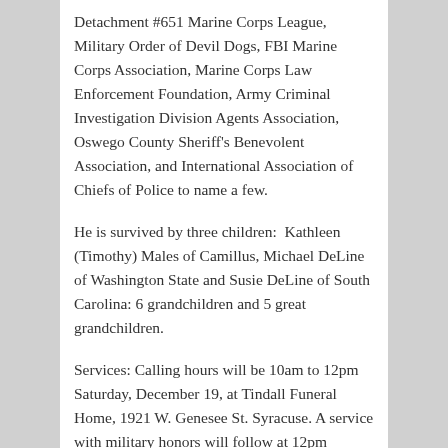Detachment #651 Marine Corps League, Military Order of Devil Dogs, FBI Marine Corps Association, Marine Corps Law Enforcement Foundation, Army Criminal Investigation Division Agents Association, Oswego County Sheriff's Benevolent Association, and International Association of Chiefs of Police to name a few.
He is survived by three children:  Kathleen (Timothy) Males of Camillus, Michael DeLine of Washington State and Susie DeLine of South Carolina: 6 grandchildren and 5 great grandchildren.
Services: Calling hours will be 10am to 12pm Saturday, December 19, at Tindall Funeral Home, 1921 W. Genesee St. Syracuse. A service with military honors will follow at 12pm...